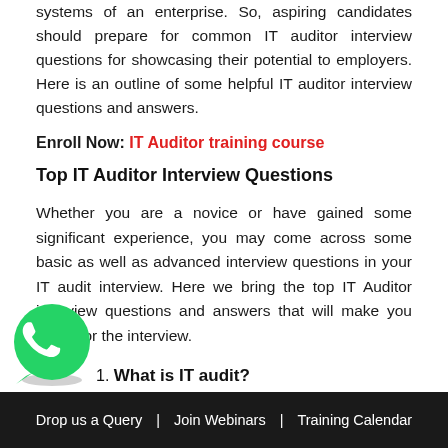systems of an enterprise. So, aspiring candidates should prepare for common IT auditor interview questions for showcasing their potential to employers. Here is an outline of some helpful IT auditor interview questions and answers.
Enroll Now: IT Auditor training course
Top IT Auditor Interview Questions
Whether you are a novice or have gained some significant experience, you may come across some basic as well as advanced interview questions in your IT audit interview. Here we bring the top IT Auditor interview questions and answers that will make you ready for the interview.
1. What is IT audit?
[Figure (logo): WhatsApp green phone icon button]
Drop us a Query  |  Join Webinars  |  Training Calendar